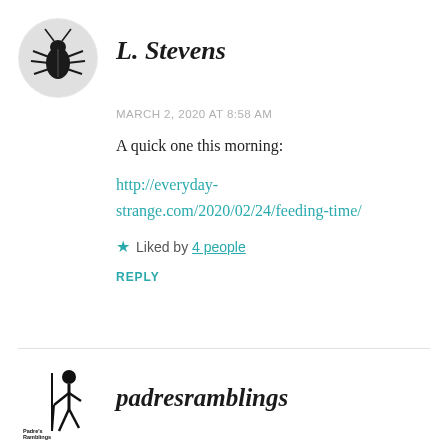L. Stevens
MARCH 2, 2020 AT 8:58 AM
A quick one this morning:
http://everyday-strange.com/2020/02/24/feeding-time/
Liked by 4 people
REPLY
padresramblings